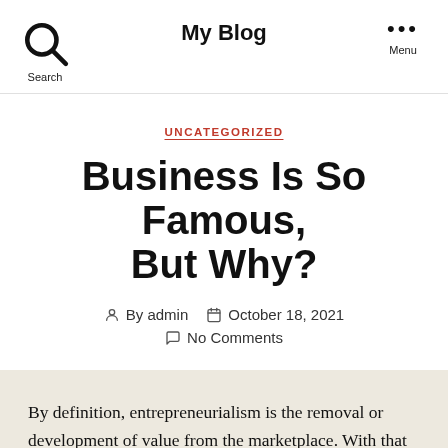My Blog
UNCATEGORIZED
Business Is So Famous, But Why?
By admin   October 18, 2021   No Comments
By definition, entrepreneurialism is the removal or development of value from the marketplace. With that